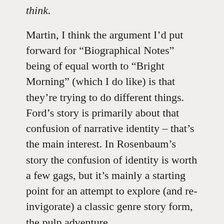think.
Martin, I think the argument I’d put forward for “Biographical Notes” being of equal worth to “Bright Morning” (which I do like) is that they’re trying to do different things. Ford’s story is primarily about that confusion of narrative identity – that’s the main interest. In Rosenbaum’s story the confusion of identity is worth a few gags, but it’s mainly a starting point for an attempt to explore (and re-invigorate) a classic genre story form, the pulp adventure.
And with that … I think we’re done. It’s nice to end by agreeing about one story, at least!